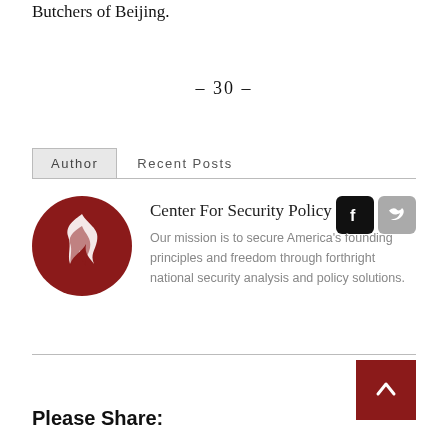Butchers of Beijing.
– 30 –
Author   Recent Posts
[Figure (logo): Center For Security Policy circular logo — dark red circle with white flame/ribbon symbol]
Center For Security Policy
Our mission is to secure America's founding principles and freedom through forthright national security analysis and policy solutions.
Please Share: